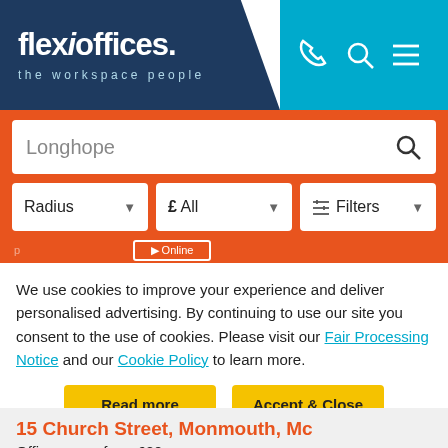[Figure (screenshot): Flexioffices website header with dark blue background showing 'flexioffices. the workspace people' logo on left and sky blue panel with phone, search and menu icons on right]
[Figure (screenshot): Orange search bar with white search input showing 'Longhope' text and magnifying glass icon, plus filter dropdowns for Radius, £ All, and Filters]
We use cookies to improve your experience and deliver personalised advertising. By continuing to use our site you consent to the use of cookies. Please visit our Fair Processing Notice and our Cookie Policy to learn more.
Read more
Accept & Close
15 Church Street, Monmouth, Mc
Office space from £20